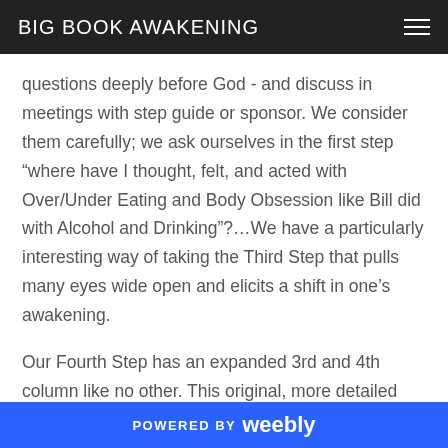BIG BOOK AWAKENING
questions deeply before God - and discuss in meetings with step guide or sponsor. We consider them carefully; we ask ourselves in the first step “where have I thought, felt, and acted with Over/Under Eating and Body Obsession like Bill did with Alcohol and Drinking”?…We have a particularly interesting way of taking the Third Step that pulls many eyes wide open and elicits a shift in one’s awakening.
Our Fourth Step has an expanded 3rd and 4th column like no other. This original, more detailed method uncovers exactly what is blocking us from being the person God
POWERED BY weebly